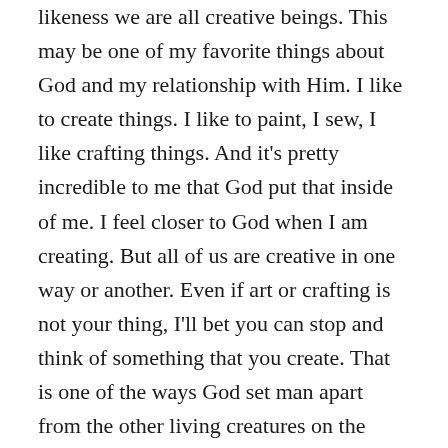likeness we are all creative beings. This may be one of my favorite things about God and my relationship with Him. I like to create things. I like to paint, I sew, I like crafting things. And it's pretty incredible to me that God put that inside of me. I feel closer to God when I am creating. But all of us are creative in one way or another. Even if art or crafting is not your thing, I'll bet you can stop and think of something that you create. That is one of the ways God set man apart from the other living creatures on the earth. That is one of the ways we were created in His image, to be creative beings as well. You have original thoughts and ideas. Everything that goes through your mind isn't something you read. No matter your profession, you have to think things through to figure them out. We all have a place, a purpose, and a calling. The calling that God has put inside of you and I have a reason for